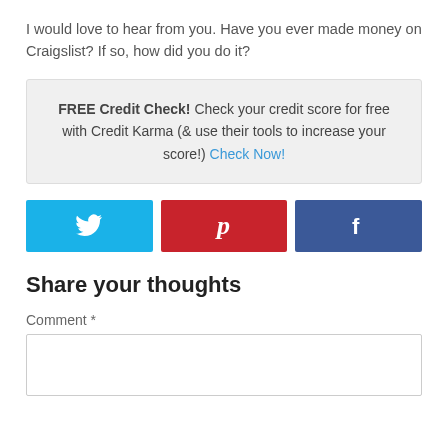I would love to hear from you. Have you ever made money on Craigslist? If so, how did you do it?
FREE Credit Check! Check your credit score for free with Credit Karma (& use their tools to increase your score!) Check Now!
[Figure (infographic): Three social share buttons: Twitter (blue), Pinterest (red), Facebook (dark blue)]
Share your thoughts
Comment *